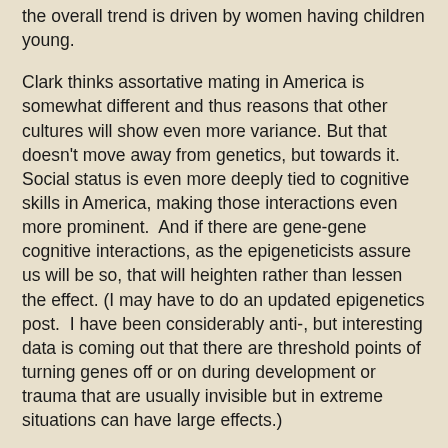the overall trend is driven by women having children young.
Clark thinks assortative mating in America is somewhat different and thus reasons that other cultures will show even more variance. But that doesn't move away from genetics, but towards it. Social status is even more deeply tied to cognitive skills in America, making those interactions even more prominent.  And if there are gene-gene cognitive interactions, as the epigeneticists assure us will be so, that will heighten rather than lessen the effect. (I may have to do an updated epigenetics post.  I have been considerably anti-, but interesting data is coming out that there are threshold points of turning genes off or on during development or trauma that are usually invisible but in extreme situations can have large effects.)
Clark does this research to investigate which interventions, especially government interventions, actually have a positive effect on outcomes. He will measure at the break point of when increased mandatory education was required - the three years earlier versus the three years after - to see if there were any measurable differences in occupational or